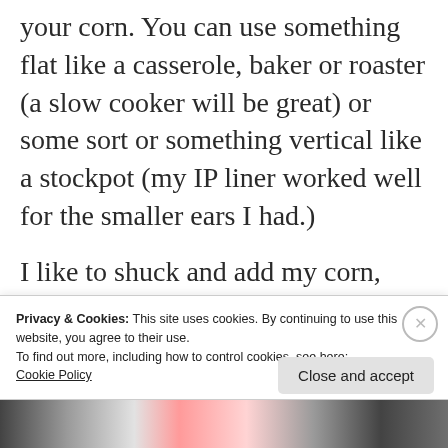your corn. You can use something flat like a casserole, baker or roaster (a slow cooker will be great) or some sort or something vertical like a stockpot (my IP liner worked well for the smaller ears I had.)
I like to shuck and add my corn, then fill with enough water to
Privacy & Cookies: This site uses cookies. By continuing to use this website, you agree to their use.
To find out more, including how to control cookies, see here:
Cookie Policy
Close and accept